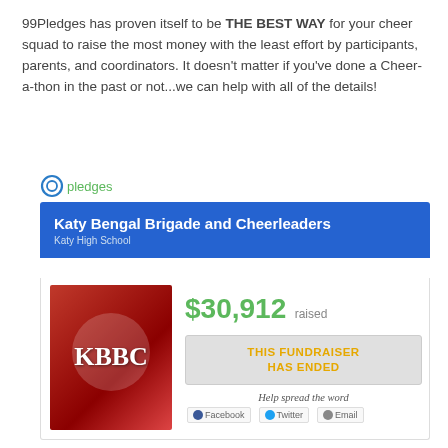99Pledges has proven itself to be THE BEST WAY for your cheer squad to raise the most money with the least effort by participants, parents, and coordinators. It doesn't matter if you've done a Cheer-a-thon in the past or not...we can help with all of the details!
[Figure (screenshot): 99Pledges fundraiser screenshot showing Katy Bengal Brigade and Cheerleaders fundraiser page with $30,912 raised and 'This Fundraiser Has Ended' button]
[Figure (photo): KBBC red background image with cheerleaders and KBBC text]